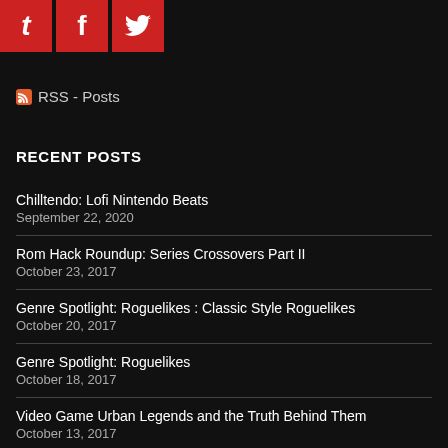[Figure (illustration): Three red square social media icons: Tumblr (t), another platform (T/f), and Twitter (bird icon)]
RSS - Posts
RECENT POSTS
Chilltendo: Lofi Nintendo Beats
September 22, 2020
Rom Hack Roundup: Series Crossovers Part II
October 23, 2017
Genre Spotlight: Roguelikes : Classic Style Roguelikes
October 20, 2017
Genre Spotlight: Roguelikes
October 18, 2017
Video Game Urban Legends and the Truth Behind Them
October 13, 2017